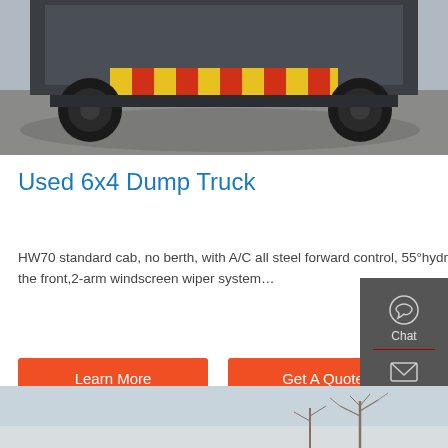[Figure (photo): Rear view of a large dump truck with yellow and red warning markings on the tailgate, parked on a concrete surface.]
Used 6x4 Dump Truck
HW70 standard cab, no berth, with A/C all steel forward control, 55°hydraulically tiltable to the front,2-arm windscreen wiper system…
[Figure (photo): Partial view of another truck or vehicle outdoors with bare trees in the background against a pale sky.]